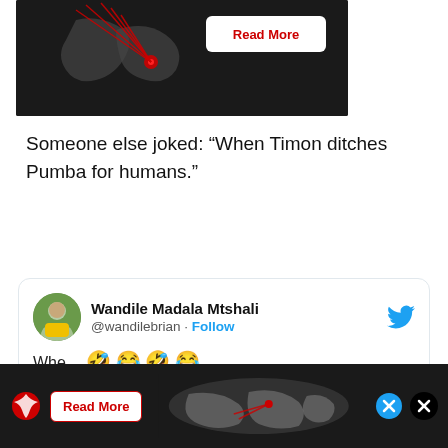[Figure (map): Dark background map with red lines converging on a point, with a Read More button]
Someone else joked: “When Timon ditches Pumba for humans.”
[Figure (screenshot): Tweet card from Wandile Madala Mtshali (@wandilebrian) with Follow link and Twitter bird icon]
[Figure (infographic): Advertisement banner with dark background, red eagle logo, Read More button, world map graphic, and close/X buttons]